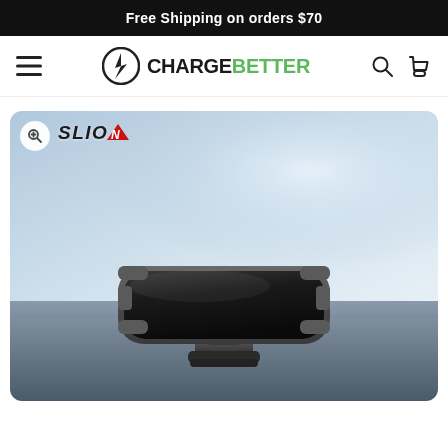Free Shipping on orders $70
[Figure (logo): ChargeBetter website header with hamburger menu, ChargeBetter logo (lightning bolt icon + CHARGE in black + BETTER in green), search icon and cart icon]
[Figure (photo): Product photo of a SLION branded magnetic car phone mount/holder (black, rounded rectangular pad on a metal base) sitting on a car dashboard surface, with blurred background]